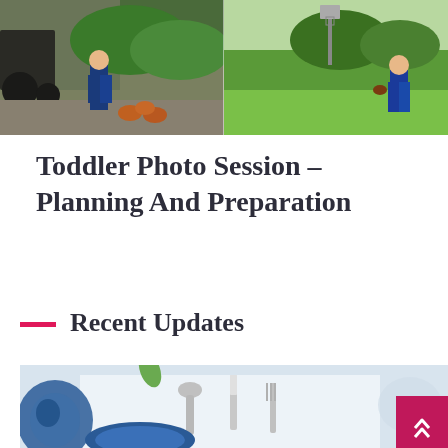[Figure (photo): Two side-by-side outdoor photos of children: left shows a young boy feeding chickens on a farm near a rustic stone building with a tractor; right shows a young boy in a blue sports jersey holding a football on a green field with a basketball hoop in the background.]
Toddler Photo Session – Planning And Preparation
Recent Updates
[Figure (photo): Overhead photo of a table setting showing silverware (spoon, knife, fork), a blue decorative plate, and white fabric, with a blue paisley patterned element on the left. A pink/magenta scroll-up button is visible in the bottom-right corner.]